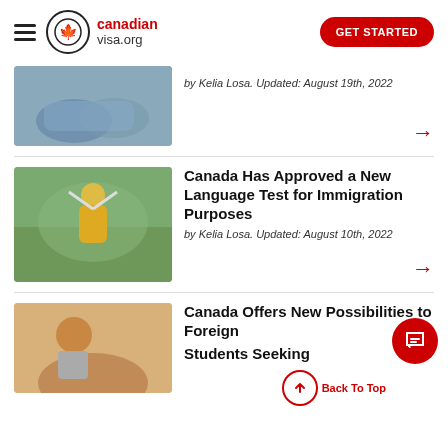canadian visa.org — GET STARTED
[Figure (photo): Hands shaking, business handshake scene]
by Kelia Losa. Updated: August 19th, 2022
[Figure (photo): Happy hikers celebrating outdoors in mountains, man in yellow jacket raising arms]
Canada Has Approved a New Language Test for Immigration Purposes
by Kelia Losa. Updated: August 10th, 2022
[Figure (photo): Smiling young man, student in classroom setting]
Canada Offers New Possibilities to Foreign Students Seeking